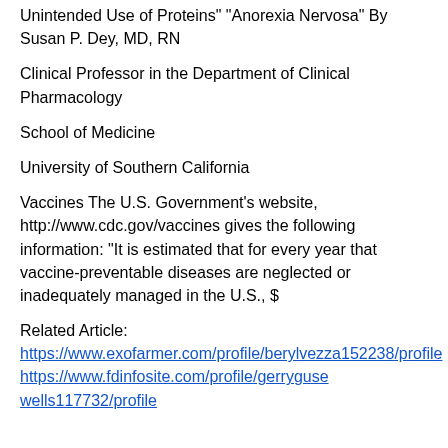Unintended Use of Proteins" "Anorexia Nervosa" By Susan P. Dey, MD, RN
Clinical Professor in the Department of Clinical Pharmacology
School of Medicine
University of Southern California
Vaccines The U.S. Government's website, http://www.cdc.gov/vaccines gives the following information: "It is estimated that for every year that vaccine-preventable diseases are neglected or inadequately managed in the U.S., $
Related Article:
https://www.exofarmer.com/profile/berylvezza152238/profile
https://www.fdinfosite.com/profile/gerrygusewells117732/profile